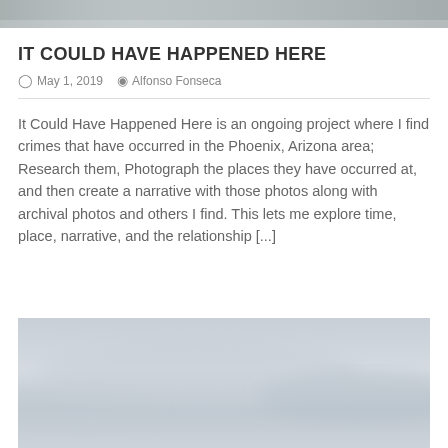[Figure (photo): Partially visible grayscale photograph at the top of the page, showing an outdoor scene, cropped at the top edge.]
IT COULD HAVE HAPPENED HERE
May 1, 2019  Alfonso Fonseca
It Could Have Happened Here is an ongoing project where I find crimes that have occurred in the Phoenix, Arizona area; Research them, Photograph the places they have occurred at, and then create a narrative with those photos along with archival photos and others I find. This lets me explore time, place, narrative, and the relationship [...]
[Figure (photo): Grayscale photograph at the bottom of the page showing an overcast sky with pale grey clouds.]